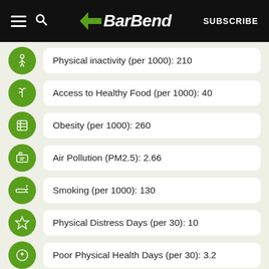BarBend — SUBSCRIBE
Physical inactivity (per 1000): 210
Access to Healthy Food (per 1000): 40
Obesity (per 1000): 260
Air Pollution (PM2.5): 2.66
Smoking (per 1000): 130
Physical Distress Days (per 30): 10
Poor Physical Health Days (per 30): 3.2
Drinking Water Violations: Yes
Drinking (per 1000): 180